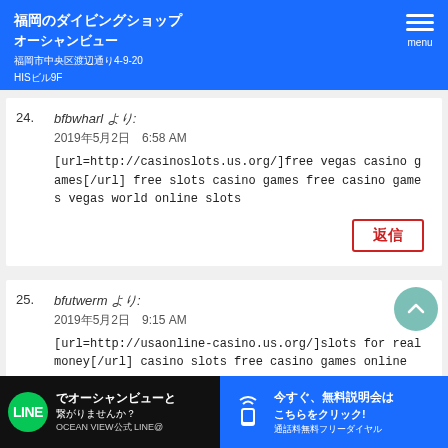福岡のダイビングショップ オーシャンビュー 福岡市中央区渡辺通り4-9-20 HISビル9F  menu
24. bfbwharl より: 2019年5月2日 6:58 AM [url=http://casinoslots.us.org/]free vegas casino games[/url] free slots casino games free casino games vegas world online slots 返信
25. bfutwerm より: 2019年5月2日 9:15 AM [url=http://usaonline-casino.us.org/]slots for real money[/url] casino slots free casino games online
[Figure (screenshot): Footer bar with LINE and phone contact buttons]